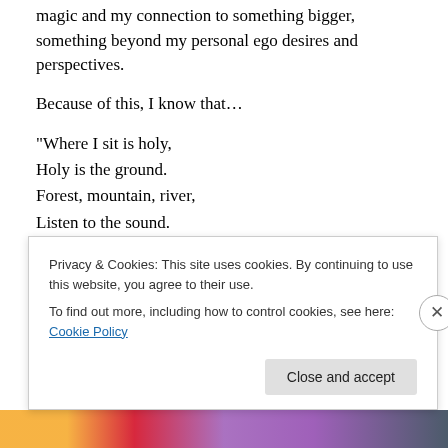magic and my connection to something bigger, something beyond my personal ego desires and perspectives.
Because of this, I know that…
“Where I sit is holy,
Holy is the ground.
Forest, mountain, river,
Listen to the sound.
Great Spirit circles
all around me…” – Native American chant
Ciao
Privacy & Cookies: This site uses cookies. By continuing to use this website, you agree to their use.
To find out more, including how to control cookies, see here: Cookie Policy